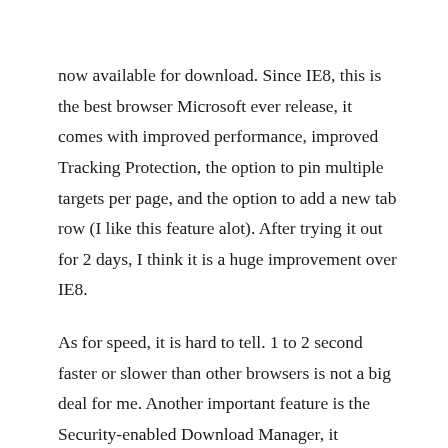now available for download. Since IE8, this is the best browser Microsoft ever release, it comes with improved performance, improved Tracking Protection, the option to pin multiple targets per page, and the option to add a new tab row (I like this feature alot). After trying it out for 2 days, I think it is a huge improvement over IE8.
As for speed, it is hard to tell. 1 to 2 second faster or slower than other browsers is not a big deal for me. Another important feature is the Security-enabled Download Manager, it manages file transfers and can pause and resume downloads and informs if a file may be malicious.
I am not going into details on the features, you can find